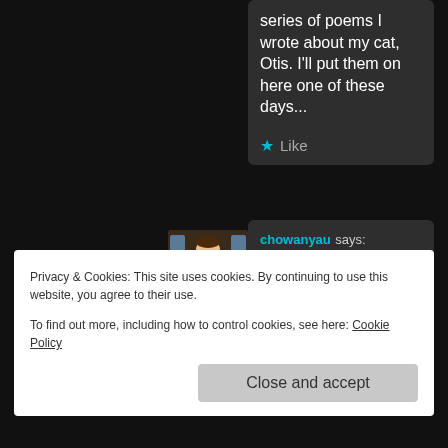That reminds me of a series of poems I wrote about my cat, Otis. I'll put them on here one of these days...
Like
chowanyau says: July 16, 2013 at 5:43 pm
cool x
Like
Privacy & Cookies: This site uses cookies. By continuing to use this website, you agree to their use.
To find out more, including how to control cookies, see here: Cookie Policy
Close and accept